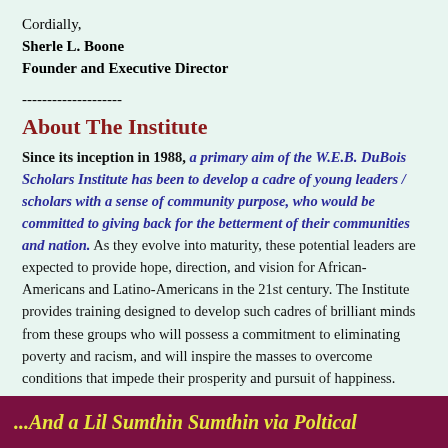Cordially,
Sherle L. Boone
Founder and Executive Director
--------------------
About The Institute
Since its inception in 1988, a primary aim of the W.E.B. DuBois Scholars Institute has been to develop a cadre of young leaders / scholars with a sense of community purpose, who would be committed to giving back for the betterment of their communities and nation. As they evolve into maturity, these potential leaders are expected to provide hope, direction, and vision for African-Americans and Latino-Americans in the 21st century. The Institute provides training designed to develop such cadres of brilliant minds from these groups who will possess a commitment to eliminating poverty and racism, and will inspire the masses to overcome conditions that impede their prosperity and pursuit of happiness.
====================
...And a Lil Sumthin Sumthin via Poltical